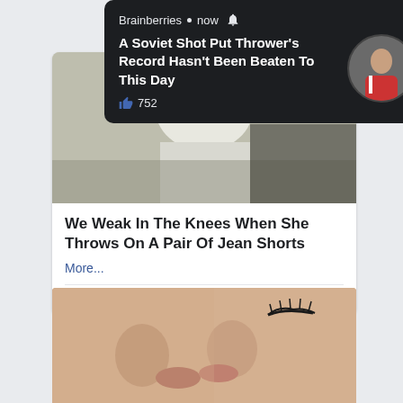[Figure (screenshot): Facebook notification popup from Brainberries: 'A Soviet Shot Put Thrower's Record Hasn't Been Beaten To This Day' with 752 likes, shown over a social media feed]
Brainberries • now 🔔
A Soviet Shot Put Thrower's Record Hasn't Been Beaten To This Day
👍 752
[Figure (screenshot): Social media post card showing a woman in white clothes. Title: 'We Weak In The Knees When She Throws On A Pair Of Jean Shorts'. More... link. Reactions: 736 likes, 184 comments, 245 shares.]
We Weak In The Knees When She Throws On A Pair Of Jean Shorts
More...
736  184  245
[Figure (photo): Close-up photo of two people kissing, showing noses and lips in soft focus]